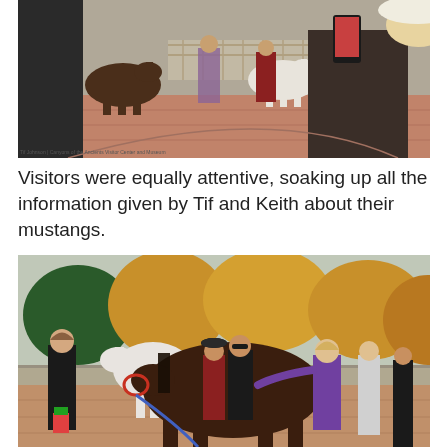[Figure (photo): Visitors and horses in a courtyard; a woman in the foreground photographs the scene with a smartphone while others and two horses stand in the background on brick pavement.]
Tif Johnson | Canyons of the Ancients Visitor Center and Museum
Visitors were equally attentive, soaking up all the information given by Tif and Keith about their mustangs.
[Figure (photo): A group of visitors gathered around a large dark brown horse and a white horse outdoors, with autumn trees in the background. A woman in a black jacket stands to the left near the white horse, and a girl in a purple jacket reaches out to touch the dark horse.]